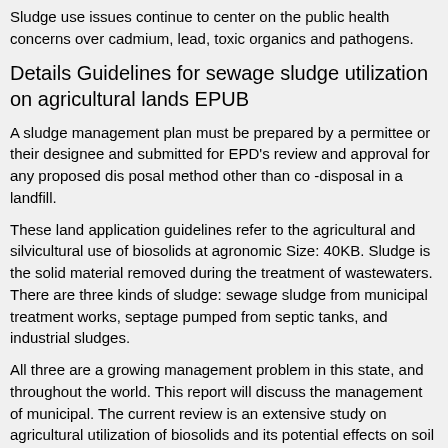Sludge use issues continue to center on the public health concerns over cadmium, lead, toxic organics and pathogens.
Details Guidelines for sewage sludge utilization on agricultural lands EPUB
A sludge management plan must be prepared by a permittee or their designee and submitted for EPD's review and approval for any proposed dis posal method other than co -disposal in a landfill.
These land application guidelines refer to the agricultural and silvicultural use of biosolids at agronomic Size: 40KB. Sludge is the solid material removed during the treatment of wastewaters. There are three kinds of sludge: sewage sludge from municipal treatment works, septage pumped from septic tanks, and industrial sludges.
All three are a growing management problem in this state, and throughout the world. This report will discuss the management of municipal. The current review is an extensive study on agricultural utilization of biosolids and its potential effects on soil and plant grown.